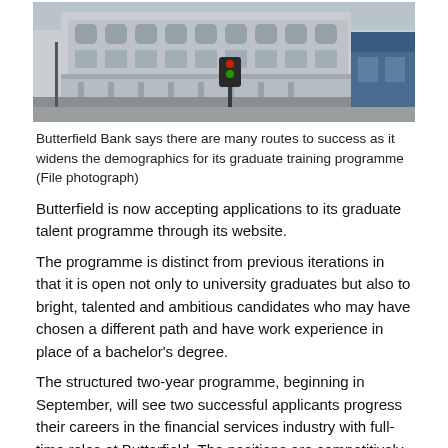[Figure (photo): Street-level photograph of Butterfield Bank building, a large grey/white multi-story commercial building on a corner, with traffic lights, street poles, and other shops visible. The street is empty.]
Butterfield Bank says there are many routes to success as it widens the demographics for its graduate training programme (File photograph)
Butterfield is now accepting applications to its graduate talent programme through its website.
The programme is distinct from previous iterations in that it is open not only to university graduates but also to bright, talented and ambitious candidates who may have chosen a different path and have work experience in place of a bachelor’s degree.
The structured two-year programme, beginning in September, will see two successful applicants progress their careers in the financial services industry with full-time roles at Butterfield. The positions are competitively salaried with benefits.